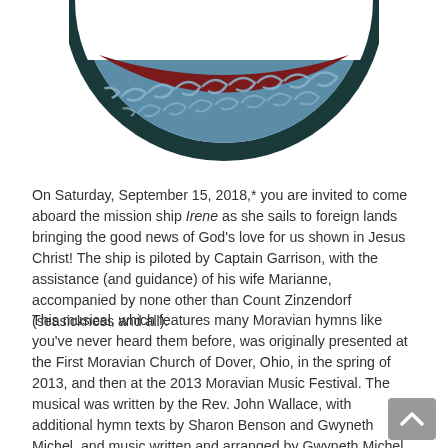[Figure (illustration): Bottom portion of a circular logo showing a ship/nautical theme with dark blue outer ring, steelblue wave pattern, dark red/maroon curved shape (ship hull or smile), and white space at top. Decorative scroll/wave motifs in light blue.]
On Saturday, September 15, 2018,* you are invited to come aboard the mission ship Irene as she sails to foreign lands bringing the good news of God's love for us shown in Jesus Christ! The ship is piloted by Captain Garrison, with the assistance (and guidance) of his wife Marianne, accompanied by none other than Count Zinzendorf (seasickness and all).
This musical, which features many Moravian hymns like you've never heard them before, was originally presented at the First Moravian Church of Dover, Ohio, in the spring of 2013, and then at the 2013 Moravian Music Festival. The musical was written by the Rev. John Wallace, with additional hymn texts by Sharon Benson and Gwyneth Michel, and music written and arranged by Gwyneth Michel and Nola Reed Knouse.